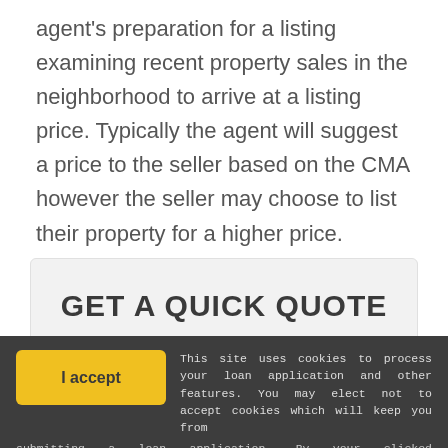agent's preparation for a listing examining recent property sales in the neighborhood to arrive at a listing price. Typically the agent will suggest a price to the seller based on the CMA however the seller may choose to list their property for a higher price.
GET A QUICK QUOTE
I accept   This site uses cookies to process your loan application and other features. You may elect not to accept cookies which will keep you from submitting a loan application. By your clicked consent/acceptance you acknowledge and allow the use of cookies. By clicking I Accept you acknowledge you have read and understand Ark Home Loans's Privacy Policy.